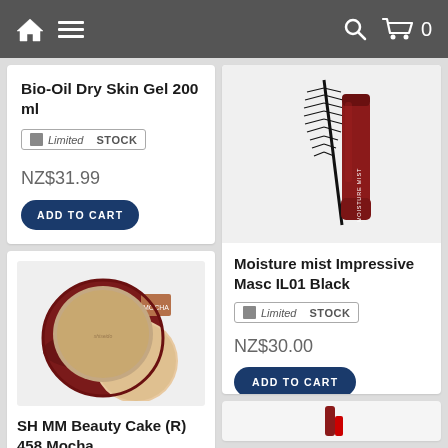Navigation bar with home, menu, search, and cart icons
Bio-Oil Dry Skin Gel 200 ml
Limited STOCK
NZ$31.99
ADD TO CART
[Figure (photo): SH MM Beauty Cake compact powder in shade 458 Mocha with burgundy case and beige puff]
SH MM Beauty Cake (R) 458 Mocha
[Figure (photo): Moisture mist Impressive Mascara IL01 Black - red/burgundy mascara tube with wand]
Moisture mist Impressive Masc IL01 Black
Limited STOCK
NZ$30.00
ADD TO CART